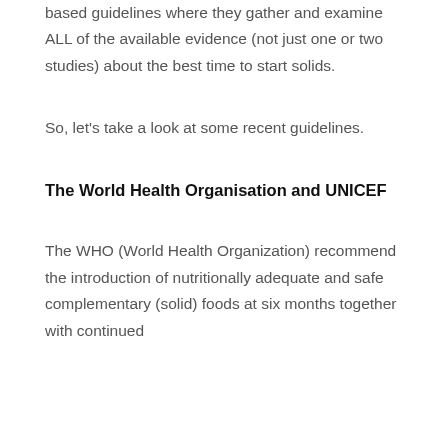based guidelines where they gather and examine ALL of the available evidence (not just one or two studies) about the best time to start solids.
So, let's take a look at some recent guidelines.
The World Health Organisation and UNICEF
The WHO (World Health Organization) recommend the introduction of nutritionally adequate and safe complementary (solid) foods at six months together with continued